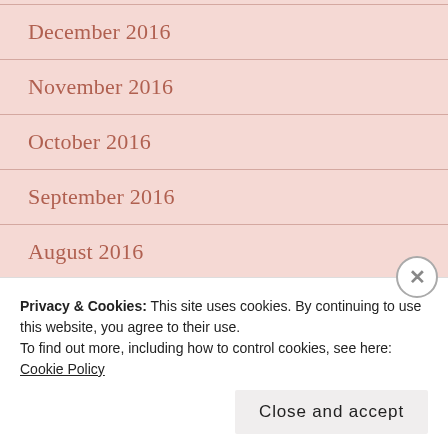December 2016
November 2016
October 2016
September 2016
August 2016
July 2016
June 2016
May 2016
April 2016
Privacy & Cookies: This site uses cookies. By continuing to use this website, you agree to their use. To find out more, including how to control cookies, see here: Cookie Policy
Close and accept